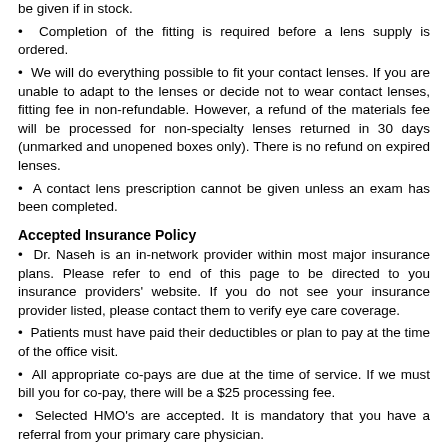be given if in stock.
Completion of the fitting is required before a lens supply is ordered.
We will do everything possible to fit your contact lenses. If you are unable to adapt to the lenses or decide not to wear contact lenses, fitting fee in non-refundable. However, a refund of the materials fee will be processed for non-specialty lenses returned in 30 days (unmarked and unopened boxes only). There is no refund on expired lenses.
A contact lens prescription cannot be given unless an exam has been completed.
Accepted Insurance Policy
Dr. Naseh is an in-network provider within most major insurance plans. Please refer to end of this page to be directed to you insurance providers' website. If you do not see your insurance provider listed, please contact them to verify eye care coverage.
Patients must have paid their deductibles or plan to pay at the time of the office visit.
All appropriate co-pays are due at the time of service. If we must bill you for co-pay, there will be a $25 processing fee.
Selected HMO's are accepted. It is mandatory that you have a referral from your primary care physician.
A $35 refractive charge is due at the time of service for routine eye exams and Medicare patients. This charge is not billable to insurance.
Billing and Payment Policy:
There is a $75 cancellation fee if the patient cancels his/her